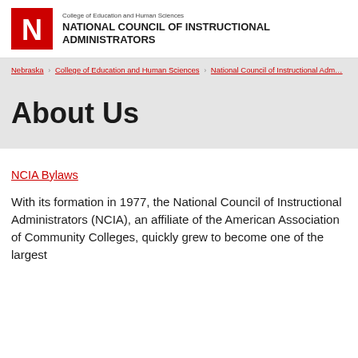College of Education and Human Sciences
NATIONAL COUNCIL OF INSTRUCTIONAL ADMINISTRATORS
Nebraska › College of Education and Human Sciences › National Council of Instructional Adm...
About Us
NCIA Bylaws
With its formation in 1977, the National Council of Instructional Administrators (NCIA), an affiliate of the American Association of Community Colleges, quickly grew to become one of the largest